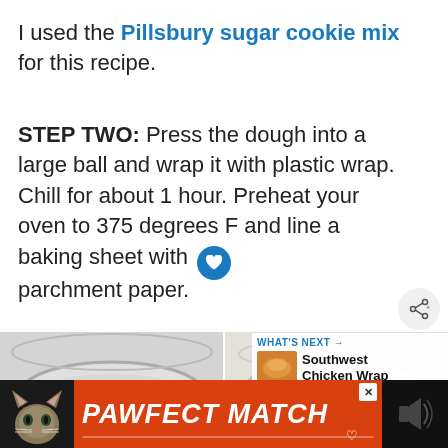I used the Pillsbury sugar cookie mix for this recipe.
STEP TWO: Press the dough into a large ball and wrap it with plastic wrap. Chill for about 1 hour. Preheat your oven to 375 degrees F and line a baking sheet with parchment paper.
[Figure (photo): Two photos showing mixing bowls with cookie dough ingredients]
[Figure (infographic): WHAT'S NEXT banner showing Southwest Chicken Wrap]
[Figure (infographic): PAWFECT MATCH advertisement banner with cat image]